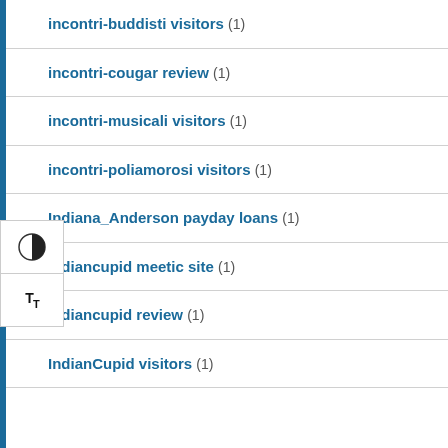incontri-buddisti visitors (1)
incontri-cougar review (1)
incontri-musicali visitors (1)
incontri-poliamorosi visitors (1)
Indiana_Anderson payday loans (1)
Indiancupid meetic site (1)
indiancupid review (1)
IndianCupid visitors (1)